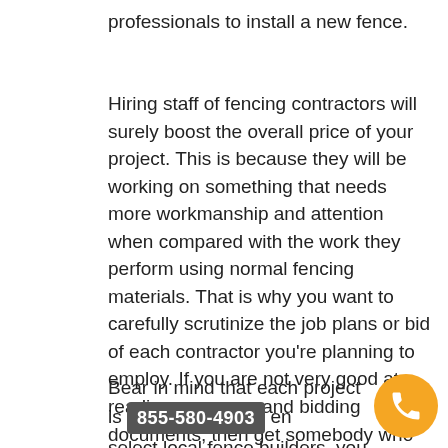professionals to install a new fence.
Hiring staff of fencing contractors will surely boost the overall price of your project. This is because they will be working on something that needs more workmanship and attention when compared with the work they perform using normal fencing materials. That is why you want to carefully scrutinize the job plans or bid of each contractor you're planning to employ. If you are not very good at reading programs and bidding documents, then get somebody who is. As a guideline, the cheapest bid should always be the one which gets the contract. However, even in the event that you think the highest bid is the best, don't go below that cost.
Bear in mind that each project is 855-580-4903 en select local fence builders, you should know that th...